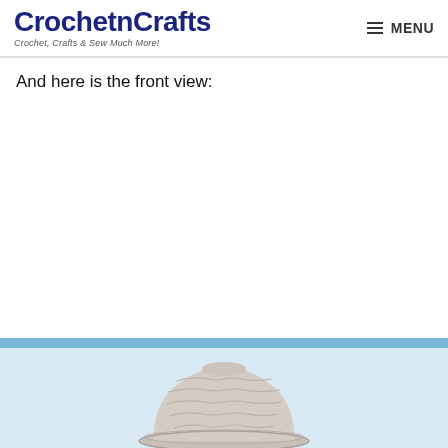CrochetnCrafts — Crochet, Crafts & Sew Much More! | MENU
And here is the front view:
[Figure (photo): Front view of a crocheted hat displayed against a light blue background. The top of the hat is visible at the bottom of the page — a light grey/cream colored crocheted cap with visible stitches, shown from the front.]